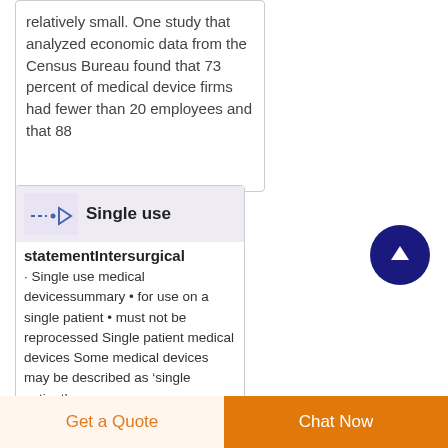relatively small. One study that analyzed economic data from the Census Bureau found that 73 percent of medical device firms had fewer than 20 employees and that 88
[Figure (illustration): Small icon showing medical device symbols (dash, dot, arrow shapes) on a light purple background]
Single use
statementIntersurgical
Single use medical devicessummary • for use on a single patient • must not be reprocessed Single patient medical devices Some medical devices may be described as 'single patient'.
[Figure (other): Dark blue circular scroll-to-top button with white upward arrow]
Get a Quote
Chat Now